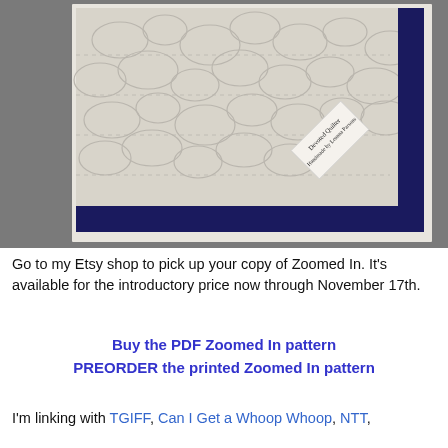[Figure (photo): Close-up photo of a white quilted fabric with cloud/bubble quilting pattern, navy blue border on the bottom and right edges, with a small label tag reading 'Devoted Quilter Handmade by Leanna Parsons' in the lower-right corner.]
Go to my Etsy shop to pick up your copy of Zoomed In. It's available for the introductory price now through November 17th.
Buy the PDF Zoomed In pattern
PREORDER the printed Zoomed In pattern
I'm linking with TGIFF, Can I Get a Whoop Whoop, NTT, Finish it up and Friday and Favourite Posts